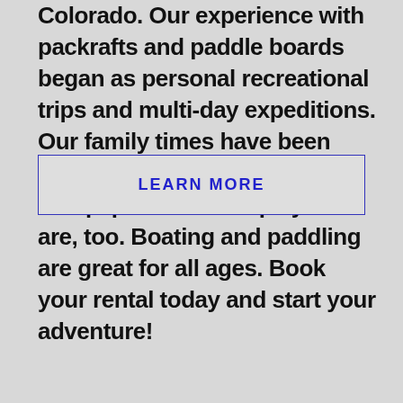Colorado. Our experience with packrafts and paddle boards began as personal recreational trips and multi-day expeditions. Our family times have been greatly enhanced by this type of equipment. We hope yours are, too. Boating and paddling are great for all ages. Book your rental today and start your adventure!
LEARN MORE